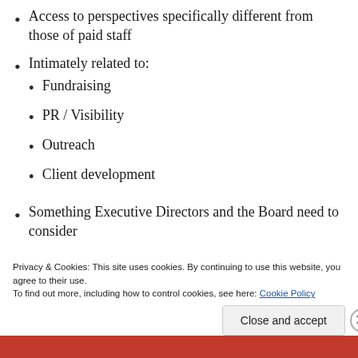Access to perspectives specifically different from those of paid staff
Intimately related to:
Fundraising
PR / Visibility
Outreach
Client development
Something Executive Directors and the Board need to consider
A part of the resource mix
A way to dream and experiment with new service
Privacy & Cookies: This site uses cookies. By continuing to use this website, you agree to their use.
To find out more, including how to control cookies, see here: Cookie Policy
Close and accept